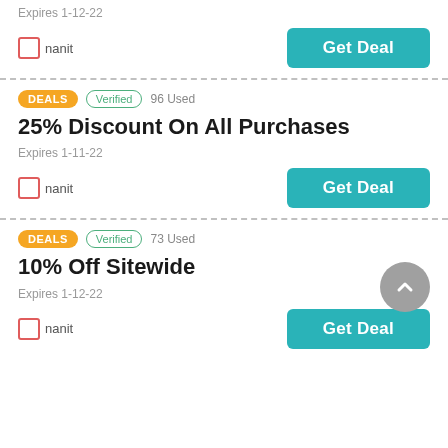Expires 1-12-22
[Figure (logo): Nanit logo]
Get Deal
DEALS  Verified  96 Used
25% Discount On All Purchases
Expires 1-11-22
[Figure (logo): Nanit logo]
Get Deal
DEALS  Verified  73 Used
10% Off Sitewide
Expires 1-12-22
[Figure (logo): Nanit logo]
Get Deal